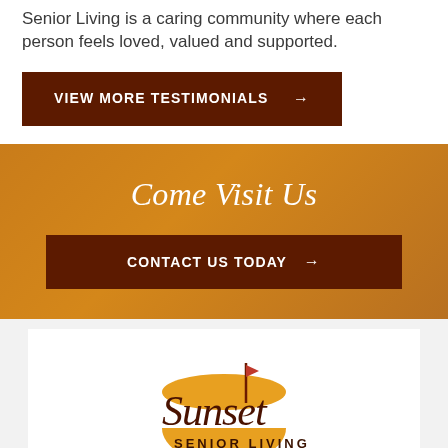Senior Living is a caring community where each person feels loved, valued and supported.
VIEW MORE TESTIMONIALS →
Come Visit Us
CONTACT US TODAY →
[Figure (logo): Sunset Senior Living logo with golden sunrise arc and cross symbol above stylized script 'Sunset' text with 'SENIOR LIVING' in block letters below]